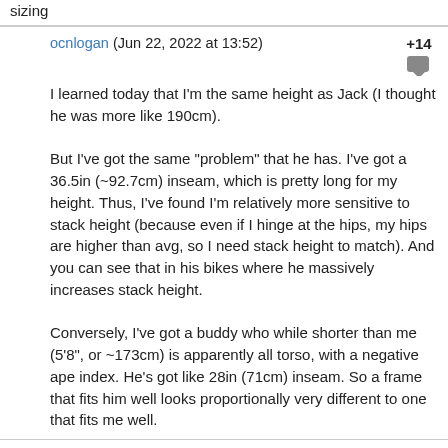sizing
ocnlogan (Jun 22, 2022 at 13:52) +14
I learned today that I'm the same height as Jack (I thought he was more like 190cm).

But I've got the same "problem" that he has. I've got a 36.5in (~92.7cm) inseam, which is pretty long for my height. Thus, I've found I'm relatively more sensitive to stack height (because even if I hinge at the hips, my hips are higher than avg, so I need stack height to match). And you can see that in his bikes where he massively increases stack height.

Conversely, I've got a buddy who while shorter than me (5'8", or ~173cm) is apparently all torso, with a negative ape index. He's got like 28in (71cm) inseam. So a frame that fits him well looks proportionally very different to one that fits me well.
taurausmountain (Jun 22, 2022 at 14:18) +3
@NoahColorado: Yes! that gave me a good laugh.
ak-77 (Jun 22, 2022 at 14:47) +4
@ocnlogan: Very recognizable, I am also at the all-limbs-no-torso